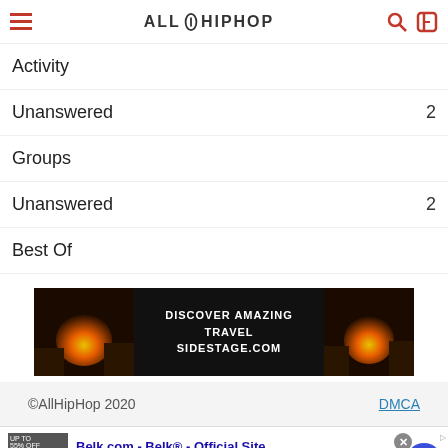AllHipHop
Activity
Unanswered  2
Groups
Unanswered  2
Best Of
[Figure (infographic): Advertisement banner: Discover Amazing Travel Sidestage.com, showing sunset/rock images on both sides]
©AllHipHop 2020   DMCA
[Figure (screenshot): Bottom advertisement: Belk.com - Belk® - Official Site. Shop for clothing, handbags, jewelry, beauty, home & more! www.belk.com]